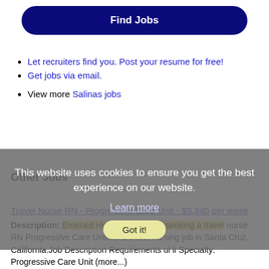[Figure (screenshot): Dark navy blue 'Find Jobs' button with rounded corners]
Let recruiters find you. Post your resume for free!
Get jobs via email.
View more Salinas jobs
This website uses cookies to ensure you get the best experience on our website.
Learn more
Got it!
Other Jobs
Travel Nurse RN - Progressive Care Unit - $3,340 per week
Description: Emerald Health Services is seeking a travel nurse RN Progressive Care Unit for a travel nursing job in Santa Cruz, California.Job Description Requirements ul li Specialty: Progressive Care Unit (more...)